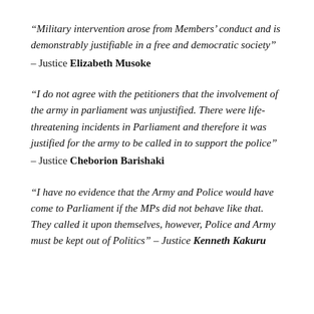“Military intervention arose from Members’ conduct and is demonstrably justifiable in a free and democratic society” – Justice Elizabeth Musoke
“I do not agree with the petitioners that the involvement of the army in parliament was unjustified. There were life-threatening incidents in Parliament and therefore it was justified for the army to be called in to support the police” – Justice Cheborion Barishaki
“I have no evidence that the Army and Police would have come to Parliament if the MPs did not behave like that. They called it upon themselves, however, Police and Army must be kept out of Politics” – Justice Kenneth Kakuru